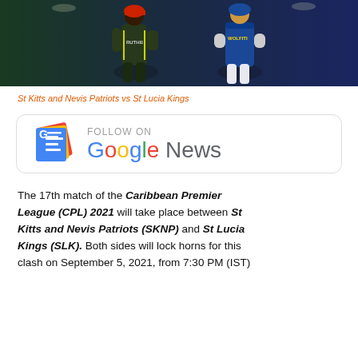[Figure (photo): Cricket players from St Kitts and Nevis Patriots and St Lucia Kings during a Caribbean Premier League match]
St Kitts and Nevis Patriots vs St Lucia Kings
[Figure (infographic): Follow on Google News banner with Google News logo]
The 17th match of the Caribbean Premier League (CPL) 2021 will take place between St Kitts and Nevis Patriots (SKNP) and St Lucia Kings (SLK). Both sides will lock horns for this clash on September 5, 2021, from 7:30 PM (IST)